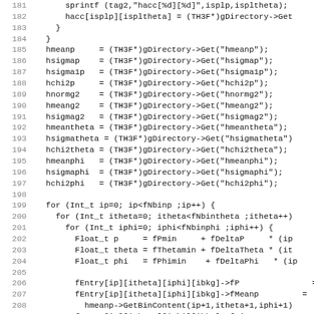Code listing lines 181-212, C++ source code with line numbers